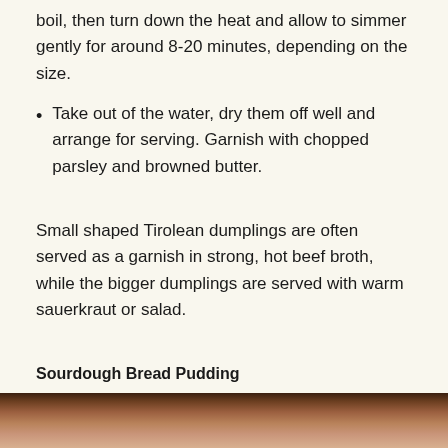boil, then turn down the heat and allow to simmer gently for around 8-20 minutes, depending on the size.
Take out of the water, dry them off well and arrange for serving. Garnish with chopped parsley and browned butter.
Small shaped Tirolean dumplings are often served as a garnish in strong, hot beef broth, while the bigger dumplings are served with warm sauerkraut or salad.
Sourdough Bread Pudding
[Figure (photo): Bottom edge of a photo showing what appears to be a baked bread pudding dish, warm brown tones.]